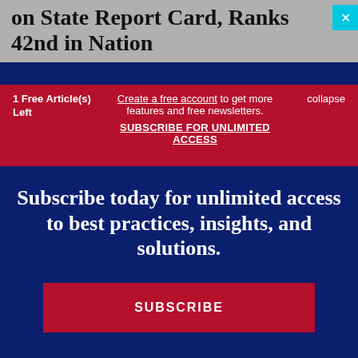on State Report Card, Ranks 42nd in Nation
1 Free Article(s) Left
Create a free account to get more features and free newsletters. SUBSCRIBE FOR UNLIMITED ACCESS
collapse
Subscribe today for unlimited access to best practices, insights, and solutions.
SUBSCRIBE